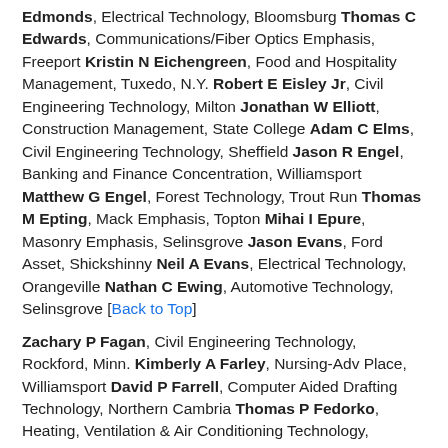Edmonds, Electrical Technology, Bloomsburg Thomas C Edwards, Communications/Fiber Optics Emphasis, Freeport Kristin N Eichengreen, Food and Hospitality Management, Tuxedo, N.Y. Robert E Eisley Jr, Civil Engineering Technology, Milton Jonathan W Elliott, Construction Management, State College Adam C Elms, Civil Engineering Technology, Sheffield Jason R Engel, Banking and Finance Concentration, Williamsport Matthew G Engel, Forest Technology, Trout Run Thomas M Epting, Mack Emphasis, Topton Mihai I Epure, Masonry Emphasis, Selinsgrove Jason Evans, Ford Asset, Shickshinny Neil A Evans, Electrical Technology, Orangeville Nathan C Ewing, Automotive Technology, Selinsgrove [Back to Top]
Zachary P Fagan, Civil Engineering Technology, Rockford, Minn. Kimberly A Farley, Nursing-Adv Place, Williamsport David P Farrell, Computer Aided Drafting Technology, Northern Cambria Thomas P Fedorko, Heating, Ventilation & Air Conditioning Technology, Hazleton W Adam Fensch, Aviation Maintenance Technology, Cherry Hill, N.J. Mark A